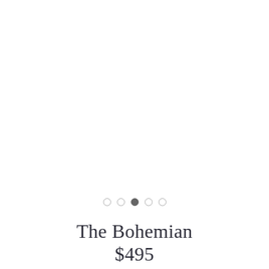[Figure (other): Image carousel with 5 navigation dots, third dot active (filled dark), others outlined. Large white/blank product image area above dots.]
The Bohemian
$495